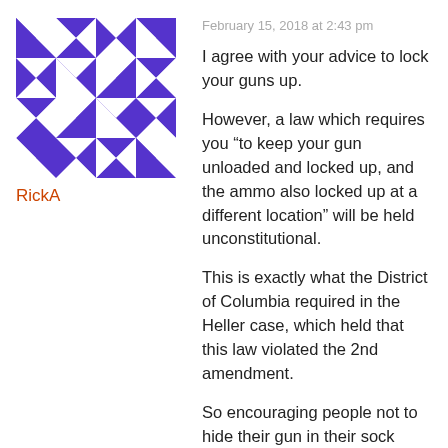[Figure (illustration): Geometric quilt-pattern avatar with purple/white triangles and squares in a symmetrical tile design]
RickA
February 15, 2018 at 2:43 pm
I agree with your advice to lock your guns up.
However, a law which requires you “to keep your gun unloaded and locked up, and the ammo also locked up at a different location” will be held unconstitutional.
This is exactly what the District of Columbia required in the Heller case, which held that this law violated the 2nd amendment.
So encouraging people not to hide their gun in their sock drawer or under their pillow is a good idea.
But getting a bunch of states to pass the law you proposed isn’t going to work.